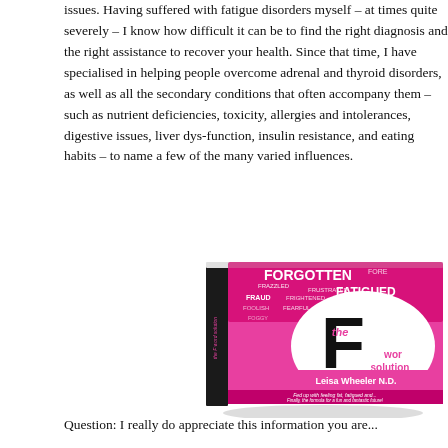issues. Having suffered with fatigue disorders myself – at times quite severely – I know how difficult it can be to find the right diagnosis and the right assistance to recover your health. Since that time, I have specialised in helping people overcome adrenal and thyroid disorders, as well as all the secondary conditions that often accompany them – such as nutrient deficiencies, toxicity, allergies and intolerances, digestive issues, liver dysfunction, insulin resistance, and eating habits – to name a few of the many varied influences.
[Figure (photo): Book cover of 'The F Word Solution' by Leisa Wheeler N.D. The cover is bright pink/magenta with a large black letter F, white speech bubble shape, and text including FORGOTTEN, FATIGUED, FRAUD and other words. Subtitle reads: Fed up with feeling fat, fatigued and... Finally, the formula for a fun and fantastic future!]
Question: I really do appreciate this information you are...